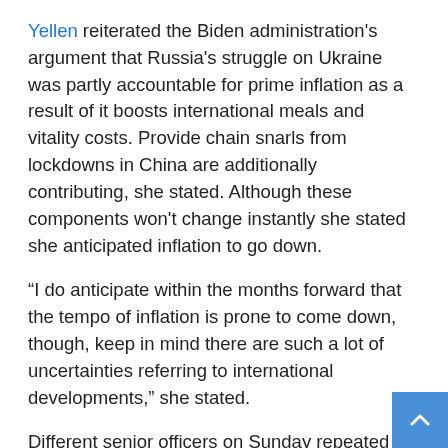Yellen reiterated the Biden administration's argument that Russia's struggle on Ukraine was partly accountable for prime inflation as a result of it boosts international meals and vitality costs. Provide chain snarls from lockdowns in China are additionally contributing, she stated. Although these components won't change instantly she stated she anticipated inflation to go down.
“I do anticipate within the months forward that the tempo of inflation is prone to come down, though, keep in mind there are such a lot of uncertainties referring to international developments,” she stated.
Different senior officers on Sunday repeated the road that recession was not inevitable, whilst surveys present economists and enterprise leaders expect one next year.
“The place we’re within the financial system proper now’s a transition and I’ve spoken to CEOs over the previous